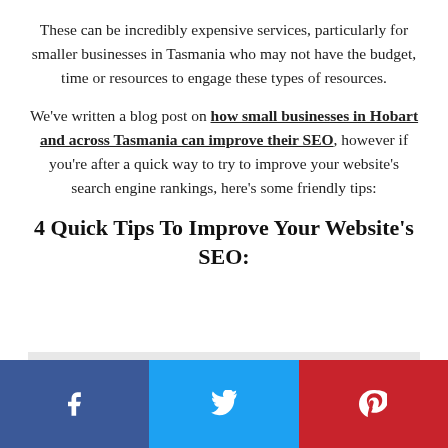These can be incredibly expensive services, particularly for smaller businesses in Tasmania who may not have the budget, time or resources to engage these types of resources.
We've written a blog post on how small businesses in Hobart and across Tasmania can improve their SEO, however if you're after a quick way to try to improve your website's search engine rankings, here's some friendly tips:
4 Quick Tips To Improve Your Website's SEO:
[Figure (other): Social sharing bar with Facebook, Twitter, and Pinterest buttons]